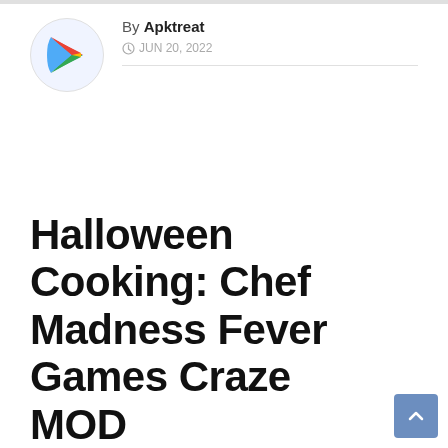By Apktreat
JUN 20, 2022
Halloween Cooking: Chef Madness Fever Games Craze MOD